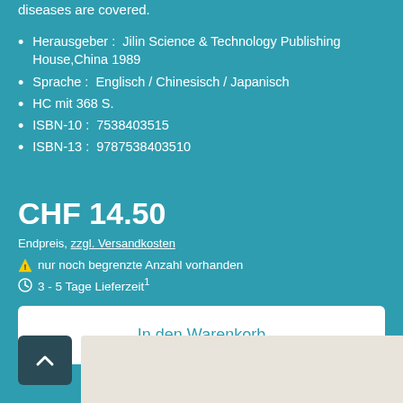diseases are covered.
Herausgeber : Jilin Science & Technology Publishing House,China 1989
Sprache : Englisch / Chinesisch / Japanisch
HC mit 368 S.
ISBN-10 : 7538403515
ISBN-13 : 9787538403510
CHF 14.50
Endpreis, zzgl. Versandkosten
⚠ nur noch begrenzte Anzahl vorhanden
🕐 3 - 5 Tage Lieferzeit¹
In den Warenkorb